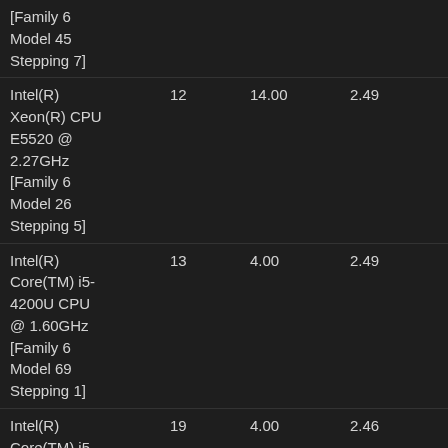| [Family 6 Model 45 Stepping 7] |  |  |  |  |
| Intel(R) Xeon(R) CPU E5520 @ 2.27GHz [Family 6 Model 26 Stepping 5] | 12 | 14.00 | 2.49 | 34.9 |
| Intel(R) Core(TM) i5-4200U CPU @ 1.60GHz [Family 6 Model 69 Stepping 1] | 13 | 4.00 | 2.49 | 9.94 |
| Intel(R) Core(TM) i5-4210U CPU | 19 | 4.00 | 2.46 | 9.83 |